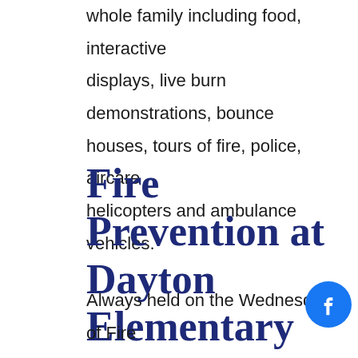whole family including food, interactive displays, live burn demonstrations, bounce houses, tours of fire, police, aircare helicopters and ambulance vehicles.
Fire Prevention at Dayton Elementary
Always held on the Wednesday of Fire Prevention Week.  Each grade level is give age-appropriate demonstrations and